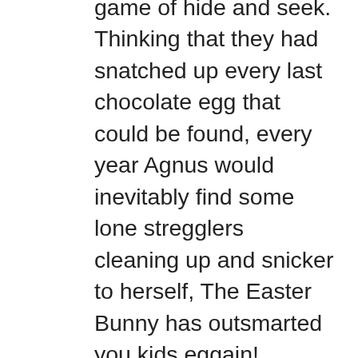game of hide and seek. Thinking that they had snatched up every last chocolate egg that could be found, every year Agnus would inevitably find some lone stregglers cleaning up and snicker to herself, The Easter Bunny has outsmarted you kids eggain!, something she’d bring up “in passing” at the next family gathering: “Guess what I found vacuuming the other day?” The children would be egghast, each certain they had checked every possible hiding place, There could be no eggs left, IMPOSSIBLE! It must’ve fallen out of one of our baskets by eggsident. Agnus giggled at the thought, and reasoned that one thoughtful Higirl or boy, staring down at his own basket overflowing with chocolate